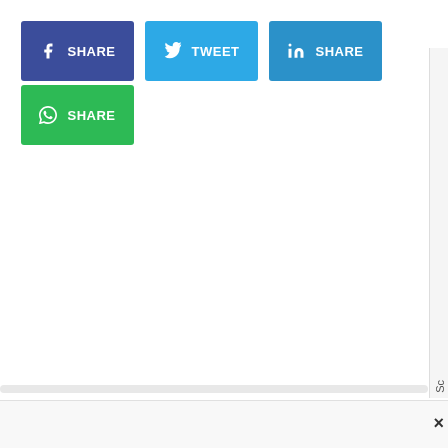[Figure (screenshot): Four social sharing buttons: Facebook SHARE (dark blue), Twitter TWEET (light blue), LinkedIn SHARE (medium blue), WhatsApp SHARE (green). Arranged in two rows. A scrollbar indicator and close button appear in the bottom-right corner.]